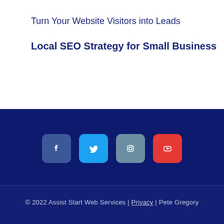Turn Your Website Visitors into Leads
Local SEO Strategy for Small Business
[Figure (infographic): Social media icons: Facebook, Twitter, Instagram, YouTube]
© 2022 Assist Start Web Services | Privacy | Pete Gregory